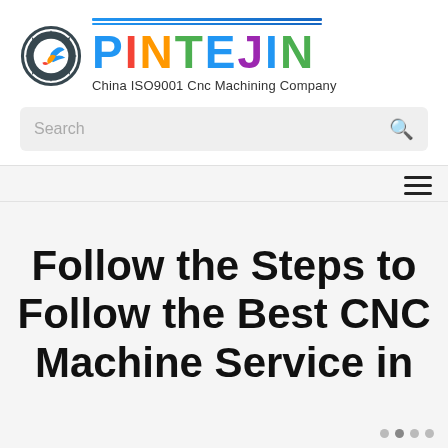[Figure (logo): PINTEJIN logo with gear icon and colorful brand name letters, subtitle: China ISO9001 Cnc Machining Company]
Search
Follow the Steps to Follow the Best CNC Machine Service in